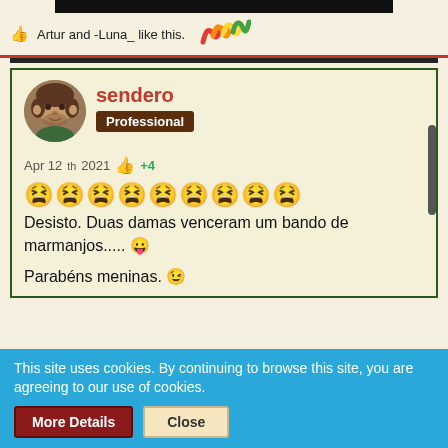[Figure (screenshot): Top navigation bar area with dark image strip at top, like notification text and colorful logo]
Artur and -Luna_ like this.
[Figure (logo): Colorful wave-like logo in red, orange, yellow, green, blue]
[Figure (screenshot): Forum post by user 'sendero' with Professional badge, avatar photo, date Apr 12th 2021, +4 likes, emoji faces, Portuguese text]
sendero
Professional
Apr 12th 2021  👍 +4
😫😫😫😫😫😫😫😫😫
Desisto. Duas damas venceram um bando de marmanjos..... 😛

Parabéns meninas. 😉
This site uses cookies. By continuing to browse this site, you are agreeing to our use of cookies.
More Details
Close